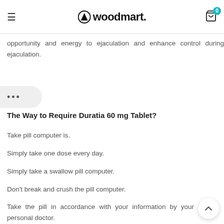woodmart.
opportunity and energy to ejaculation and enhance control during ejaculation.
The Way to Require Duratia 60 mg Tablet?
Take pill computer is.
Simply take one dose every day.
Simply take a swallow pill computer.
Don't break and crush the pill computer.
Take the pill in accordance with your information by your personal doctor.